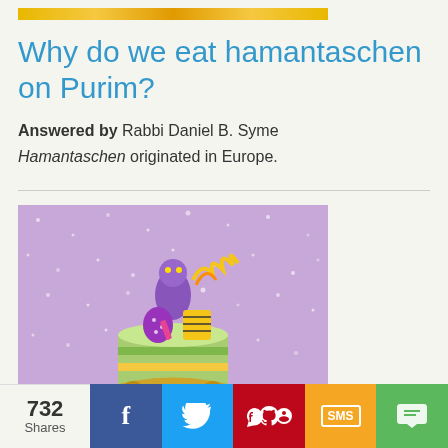[Figure (photo): Decorative yellow/gold banner strip at top]
Why do we eat hamantaschen on Purim?
Answered by Rabbi Daniel B. Syme
Hamantaschen originated in Europe.
[Figure (photo): Photo of colorful Purim mishloach manot gift basket with toys and treats on a purple sparkly background, with a gold mask in the foreground]
732 Shares | Facebook | Twitter | Pinterest | SMS | Share